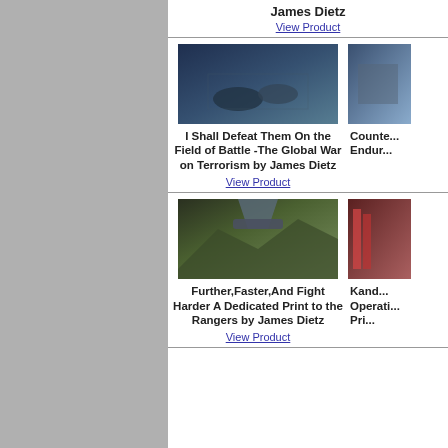James Dietz
View Product
[Figure (illustration): Military battle scene painting - soldiers in blue-toned combat scene]
[Figure (illustration): Partially visible artwork on right side]
I Shall Defeat Them On the Field of Battle -The Global War on Terrorism by James Dietz
View Product
Counte... Endur...
[Figure (illustration): Military helicopter in mountain valley painting]
[Figure (illustration): Partially visible artwork on right side]
Further,Faster,And Fight Harder A Dedicated Print to the Rangers by James Dietz
View Product
Kand... Operati... Pri...